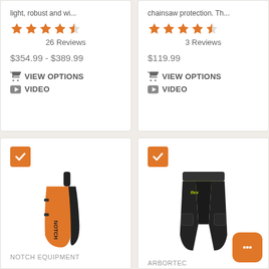light, robust and wi...
4.5 stars, 26 Reviews
$354.99 - $389.99
VIEW OPTIONS
VIDEO
chainsaw protection. Th...
4.5 stars, 3 Reviews
$119.99
VIEW OPTIONS
VIDEO
[Figure (photo): Orange Notch apron-style chainsaw chaps with black straps]
NOTCH EQUIPMENT
Notch Apron Style
[Figure (photo): Arbortec Breatheflex chainsaw trousers in black and hi-vis yellow-green]
ARBORTEC
Arbortec Breatheflex